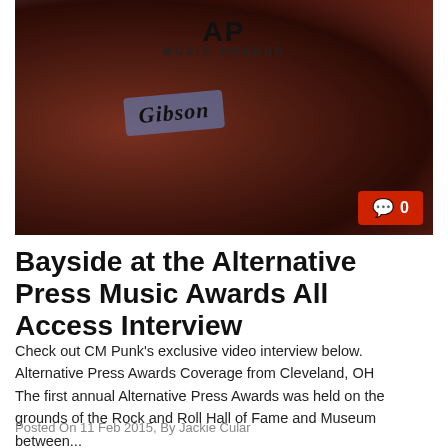[Figure (photo): Two people at the Alternative Press Music Awards event with AP Music Awards and Gibson logos visible in the background. A speech bubble comment badge showing 0 is in the bottom right corner.]
Bayside at the Alternative Press Music Awards All Access Interview
Check out CM Punk’s exclusive video interview below. Alternative Press Awards Coverage from Cleveland, OH          The first annual Alternative Press Awards was held on the grounds of the Rock and Roll Hall of Fame and Museum between...
Posted On 11 Feb 2015, By Jackie Cular